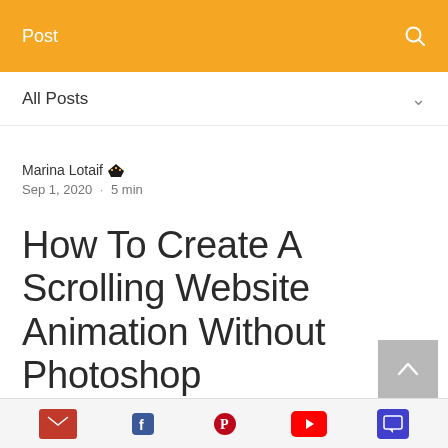Post
All Posts
Marina Lotaif  Sep 1, 2020 · 5 min
How To Create A Scrolling Website Animation Without Photoshop
[Figure (illustration): Decorative graphic strip showing colorful design elements: yellow shape, black cross with stripes, and curved bracket shape]
Social icons: email, Facebook, Pinterest, YouTube, chat